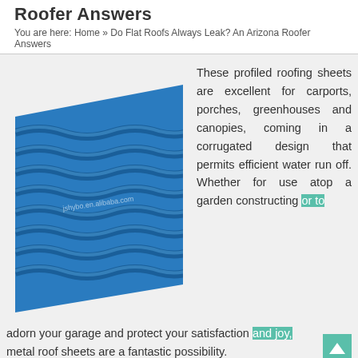Roofer Answers
You are here: Home » Do Flat Roofs Always Leak? An Arizona Roofer Answers
[Figure (photo): Blue corrugated metal roofing sheet shown at an angle, with watermark text 'jshybo.en.alibaba.com']
These profiled roofing sheets are excellent for carports, porches, greenhouses and canopies, coming in a corrugated design that permits efficient water run off. Whether for use atop a garden constructing or to adorn your garage and protect your satisfaction and joy, metal roof sheets are a fantastic possibility.